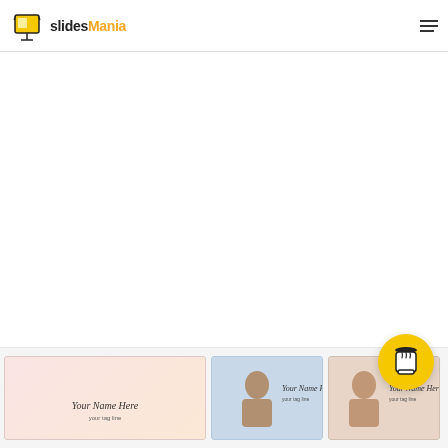slidesMania
[Figure (screenshot): SlidesМania website screenshot showing logo in header with hamburger menu, large white content area, yellow coffee button, and bottom strip with presentation template thumbnails showing 'Your Name Here' text]
Your Name Here